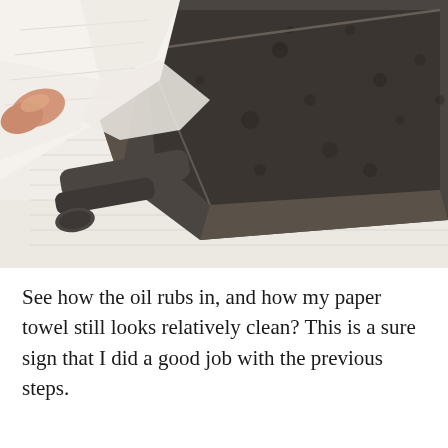[Figure (photo): A hand holding a white paper towel pressed against a dark cast iron skillet pan. The pan is square-shaped and sits on more white paper towels. The surface of the cast iron shows dark seasoning with some uneven spots. The photo is taken from an angle showing the handle and interior of the pan.]
See how the oil rubs in, and how my paper towel still looks relatively clean? This is a sure sign that I did a good job with the previous steps.